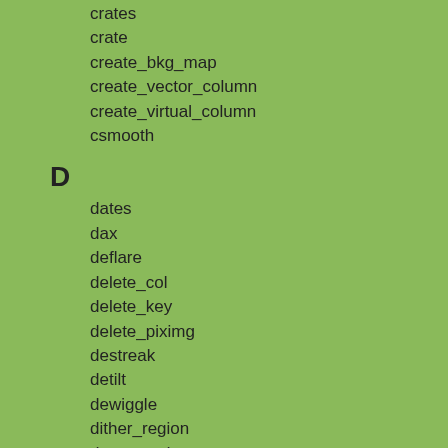crates
crate
create_bkg_map
create_vector_column
create_virtual_column
csmooth
D
dates
dax
deflare
delete_col
delete_key
delete_piximg
destreak
detilt
dewiggle
dither_region
dmappend
dmarfadd
dmascii
dmbinning
dmcontour
dmcoords
dmcopy
dmdiff
dmellipse
dmextract
dmfiltering
dmfilth
dmgroupreg